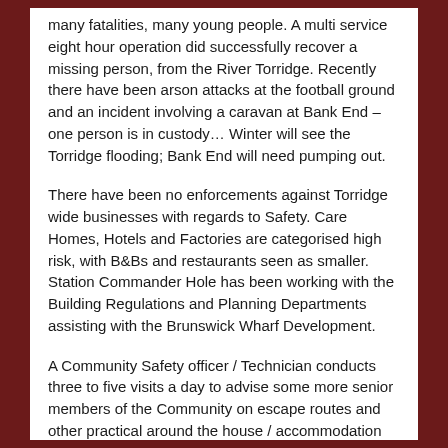many fatalities, many young people. A multi service eight hour operation did successfully recover a missing person, from the River Torridge. Recently there have been arson attacks at the football ground and an incident involving a caravan at Bank End – one person is in custody… Winter will see the Torridge flooding; Bank End will need pumping out.
There have been no enforcements against Torridge wide businesses with regards to Safety. Care Homes, Hotels and Factories are categorised high risk, with B&Bs and restaurants seen as smaller. Station Commander Hole has been working with the Building Regulations and Planning Departments assisting with the Brunswick Wharf Development.
A Community Safety officer / Technician conducts three to five visits a day to advise some more senior members of the Community on escape routes and other practical around the house / accommodation fire related advice. He spoke of incidents involving emollient creams (oil based), the residue of which can create a hazard when exposed to a naked flame (including smoking). General information is also available by the latest fire…